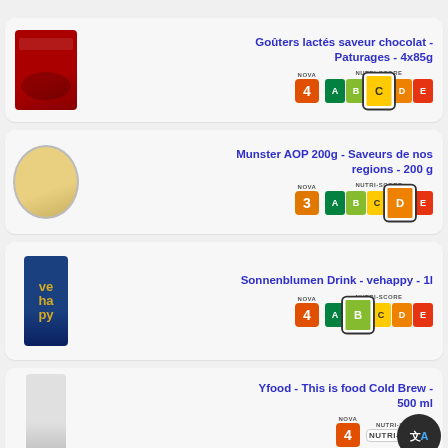Goûters lactés saveur chocolat - Paturages - 4x85g
NOVA 4, NUTRI-SCORE C
Munster AOP 200g - Saveurs de nos regions - 200 g
NOVA 3, NUTRI-SCORE D
Sonnenblumen Drink - vehappy - 1l
NOVA 4, NUTRI-SCORE B
Yfood - This is food Cold Brew - 500 ml
NOVA (visible), NUTRI-SCORE (visible)